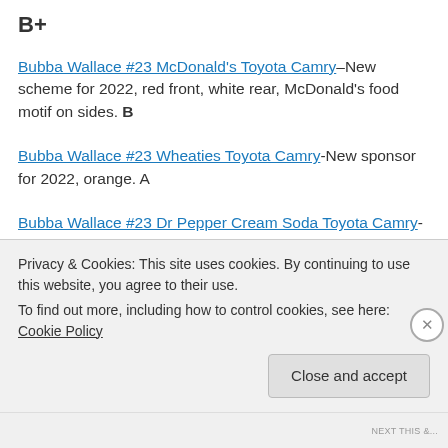B+
Bubba Wallace #23 McDonald's Toyota Camry–New scheme for 2022, red front, white rear, McDonald's food motif on sides. B
Bubba Wallace #23 Wheaties Toyota Camry-New sponsor for 2022, orange. A
Bubba Wallace #23 Dr Pepper Cream Soda Toyota Camry-New sponsor for 2022, red with cream
Privacy & Cookies: This site uses cookies. By continuing to use this website, you agree to their use. To find out more, including how to control cookies, see here: Cookie Policy
Close and accept